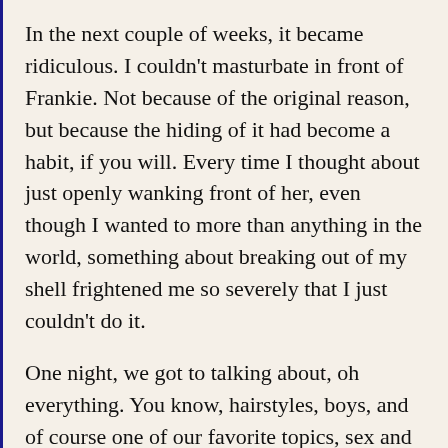In the next couple of weeks, it became ridiculous. I couldn't masturbate in front of Frankie. Not because of the original reason, but because the hiding of it had become a habit, if you will. Every time I thought about just openly wanking front of her, even though I wanted to more than anything in the world, something about breaking out of my shell frightened me so severely that I just couldn't do it.
One night, we got to talking about, oh everything. You know, hairstyles, boys, and of course one of our favorite topics, sex and masturbation. Frankie let something slip that just about killed me. She said the whole thing about masturbating in front of me had been done for my benefit. I didn't understand, and frankly I'm...